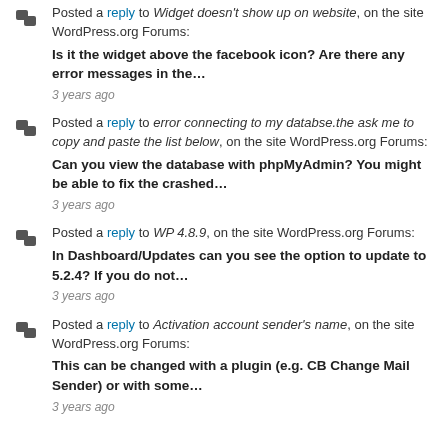Posted a reply to Widget doesn't show up on website, on the site WordPress.org Forums: Is it the widget above the facebook icon? Are there any error messages in the… 3 years ago
Posted a reply to error connecting to my databse.the ask me to copy and paste the list below, on the site WordPress.org Forums: Can you view the database with phpMyAdmin? You might be able to fix the crashed… 3 years ago
Posted a reply to WP 4.8.9, on the site WordPress.org Forums: In Dashboard/Updates can you see the option to update to 5.2.4? If you do not… 3 years ago
Posted a reply to Activation account sender's name, on the site WordPress.org Forums: This can be changed with a plugin (e.g. CB Change Mail Sender) or with some… 3 years ago